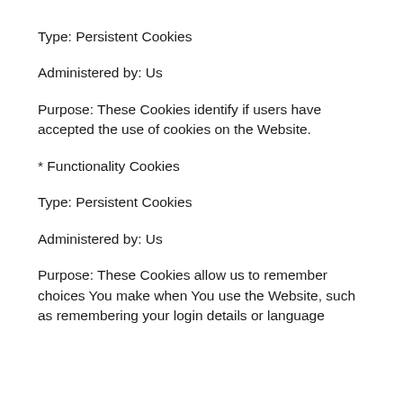Type: Persistent Cookies
Administered by: Us
Purpose: These Cookies identify if users have accepted the use of cookies on the Website.
* Functionality Cookies
Type: Persistent Cookies
Administered by: Us
Purpose: These Cookies allow us to remember choices You make when You use the Website, such as remembering your login details or language